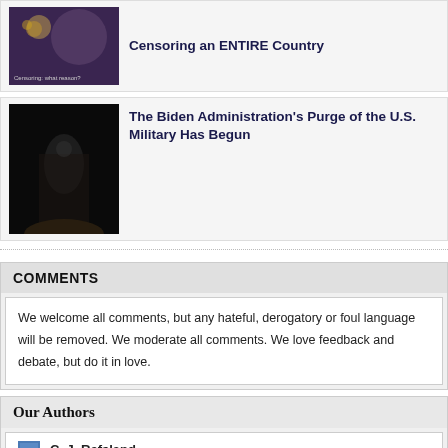[Figure (photo): Article thumbnail with purple/dark tone image for censorship article, with small text overlay]
Censoring an ENTIRE Country
[Figure (photo): Dark tunnel image for military purge article]
The Biden Administration's Purge of the U.S. Military Has Begun
COMMENTS
We welcome all comments, but any hateful, derogatory or foul language will be removed. We moderate all comments. We love feedback and debate, but do it in love.
Our Authors
C. J. Refsland